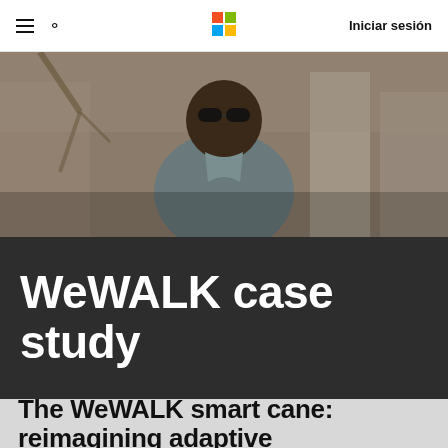Iniciar sesión
[Figure (photo): A man wearing sunglasses outdoors, in an urban setting with buildings in the background.]
WeWALK case study
The WeWALK smart cane: reimagining adaptive